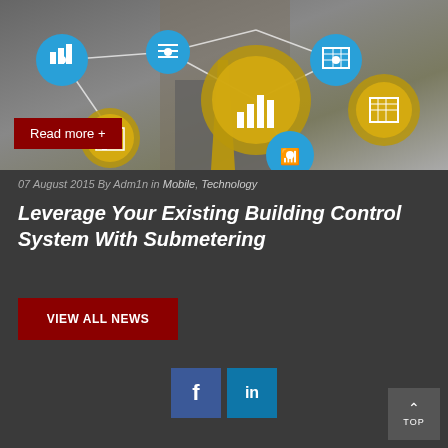[Figure (photo): Hero image showing a businessman with digital network icons and gear wheels representing building control systems and IoT technology, with chart/graph icons, wifi symbols, and grid icons in blue and gold colors]
Read more +
07 August 2015 By Adm1n in Mobile, Technology
Leverage Your Existing Building Control System With Submetering
VIEW ALL NEWS
[Figure (other): Social media icons: Facebook (f) and LinkedIn (in) buttons]
TOP